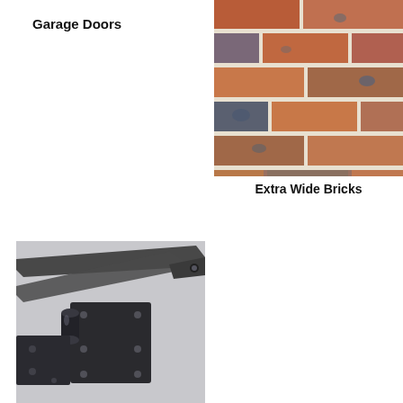Garage Doors
[Figure (photo): Close-up photo of extra wide rustic bricks with white mortar joints, reddish-brown and blue-grey tones]
Extra Wide Bricks
[Figure (photo): Close-up photo of a dark metal strap hinge mechanism mounted on a light grey surface, showing the pivot barrel and flat plates with screw holes]